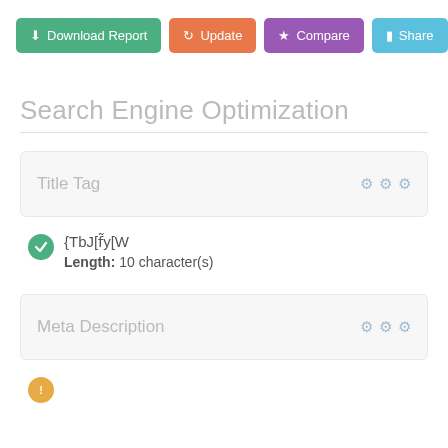[Figure (screenshot): Toolbar with four action buttons: Download Report (green), Update (orange), Compare (purple), Share (blue)]
Search Engine Optimization
Title Tag — card header with gear icons
{TbJ[f̃y[W
Length: 10 character(s)
Meta Description — card header with gear icons